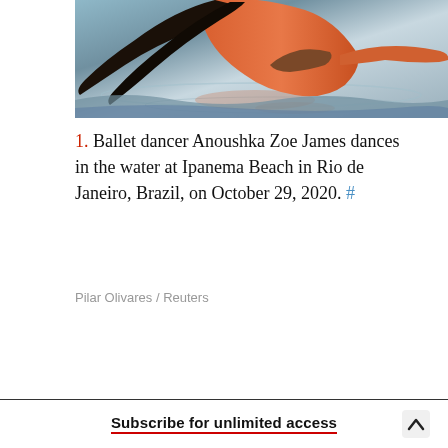[Figure (photo): Ballet dancer Anoushka Zoe James in orange top dancing in water at Ipanema Beach, Rio de Janeiro, Brazil. Photo by Pilar Olivares / Reuters.]
1. Ballet dancer Anoushka Zoe James dances in the water at Ipanema Beach in Rio de Janeiro, Brazil, on October 29, 2020. #
Pilar Olivares / Reuters
Subscribe for unlimited access